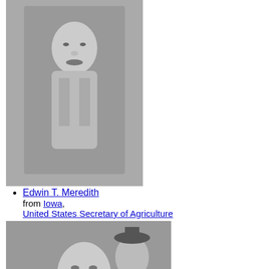[Figure (photo): Black and white portrait photo of Edwin T. Meredith, a man in a suit with a mustache]
Edwin T. Meredith from Iowa, United States Secretary of Agriculture
[Figure (photo): Black and white photo of Senator Carter Glass outdoors wearing a coat and top hat among a crowd]
Senator Carter Glass from Virginia
[Figure (photo): Black and white portrait photo of a man with glasses]